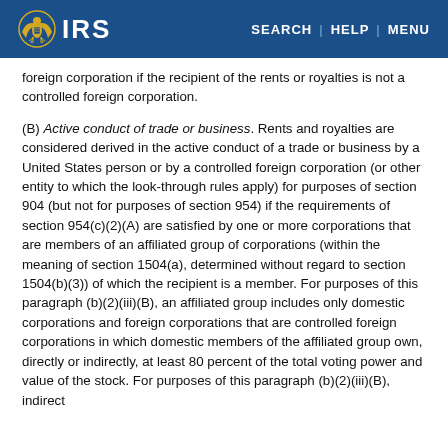IRS | SEARCH | HELP | MENU
foreign corporation if the recipient of the rents or royalties is not a controlled foreign corporation.
(B) Active conduct of trade or business. Rents and royalties are considered derived in the active conduct of a trade or business by a United States person or by a controlled foreign corporation (or other entity to which the look-through rules apply) for purposes of section 904 (but not for purposes of section 954) if the requirements of section 954(c)(2)(A) are satisfied by one or more corporations that are members of an affiliated group of corporations (within the meaning of section 1504(a), determined without regard to section 1504(b)(3)) of which the recipient is a member. For purposes of this paragraph (b)(2)(iii)(B), an affiliated group includes only domestic corporations and foreign corporations that are controlled foreign corporations in which domestic members of the affiliated group own, directly or indirectly, at least 80 percent of the total voting power and value of the stock. For purposes of this paragraph (b)(2)(iii)(B), indirect